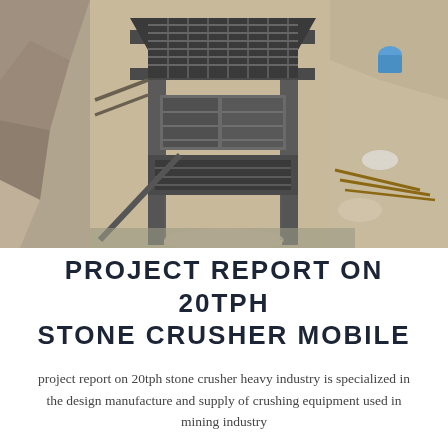[Figure (photo): Overhead/aerial view of a stone crusher machine (mobile) at a mining or construction site. The machine has a metal frame structure with conveyor/screening components. Surrounding area shows rocky terrain, sand, and scattered construction materials and metal rods.]
PROJECT REPORT ON 20TPH STONE CRUSHER MOBILE
project report on 20tph stone crusher heavy industry is specialized in the design manufacture and supply of crushing equipment used in mining industry